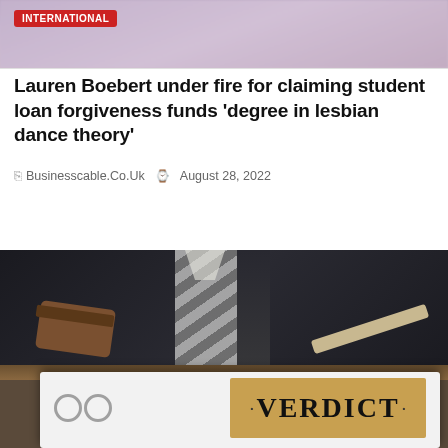[Figure (photo): Blurred photo of a woman, partially visible at top of page with INTERNATIONAL badge overlay]
Lauren Boebert under fire for claiming student loan forgiveness funds 'degree in lesbian dance theory'
Businesscable.Co.Uk  August 28, 2022
READ MORE
[Figure (photo): Photo of a judge/court scene with gavel, white binder showing VERDICT label in foreground, with ETFS badge overlay]